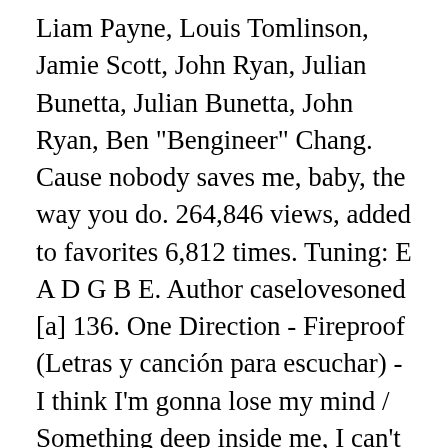Liam Payne, Louis Tomlinson, Jamie Scott, John Ryan, Julian Bunetta, Julian Bunetta, John Ryan, Ben "Bengineer" Chang. Cause nobody saves me, baby, the way you do. 264,846 views, added to favorites 6,812 times. Tuning: E A D G B E. Author caselovesoned [a] 136. One Direction - Fireproof (Letras y canción para escuchar) - I think I'm gonna lose my mind / Something deep inside me, I can't give up / I think I'm gonna lose my mind / I roll and I roll till I'm out of luck / Yeah, Something deep inside me, I can't give up. [All] SKU: MN0139187 The band members, along with the band's official account, then ... I roll and I roll till I'm out of luck. One Direction - Fireproof Piano Tutorial.